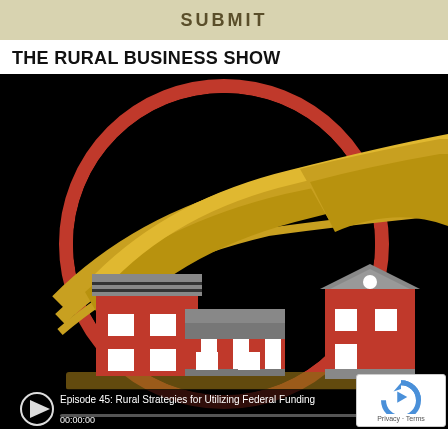SUBMIT
THE RURAL BUSINESS SHOW
[Figure (illustration): Podcast logo for The Rural Business Show showing stylized rural buildings (red storefronts, barn) with golden wheat/road streaks on a black circular background with red border. A media player bar at the bottom shows Episode 45: Rural Strategies for Utilizing Federal Funding, play button, timestamp 00:00:00, progress bar. A reCAPTCHA badge appears in the bottom right corner.]